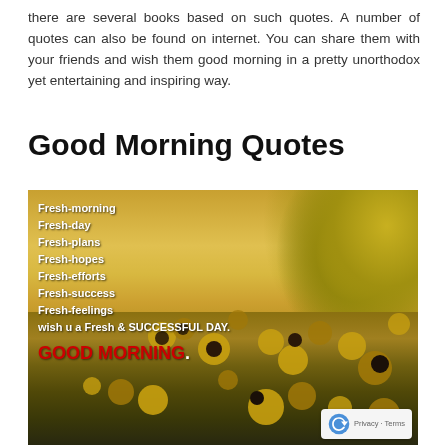there are several books based on such quotes. A number of quotes can also be found on internet. You can share them with your friends and wish them good morning in a pretty unorthodox yet entertaining and inspiring way.
Good Morning Quotes
[Figure (illustration): Decorative image with a sunflower field and golden sky background. Text overlay reads: Fresh-morning, Fresh-day, Fresh-plans, Fresh-hopes, Fresh-efforts, Fresh-success, Fresh-feelings, wish u a Fresh & SUCCESSFUL DAY. GOOD MORNING. A privacy/terms reCAPTCHA badge is in the bottom-right corner.]